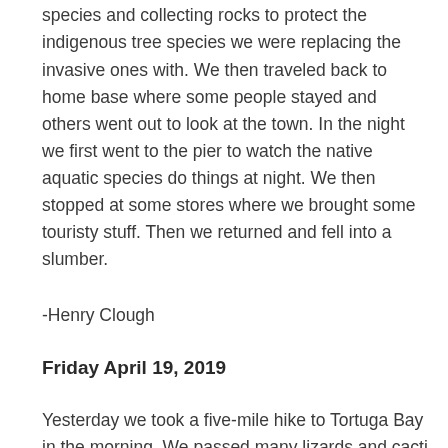the worksite. We then proceeded to work at the worksite by stacking cut down invasive tree species and collecting rocks to protect the indigenous tree species we were replacing the invasive ones with. We then traveled back to home base where some people stayed and others went out to look at the town. In the night we first went to the pier to watch the native aquatic species do things at night. We then stopped at some stores where we brought some touristy stuff. Then we returned and fell into a slumber.
-Henry Clough
Friday April 19, 2019
Yesterday we took a five-mile hike to Tortuga Bay in the morning. We passed many lizards and cacti along the way. At the end of what seemed like a never ending red brick road, we reached the shoreline where we discovered the softest sand in the world. It felt like flour!